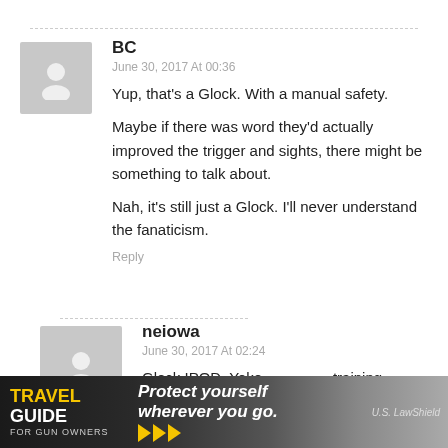[Figure (illustration): Gray avatar placeholder icon for user BC]
BC
June 30, 2017 At 00:36
Yup, that's a Glock. With a manual safety.

Maybe if there was word they'd actually improved the trigger and sights, there might be something to talk about.

Nah, it's still just a Glock. I'll never understand the fanaticism.
Reply
[Figure (illustration): Gray avatar placeholder icon for user neiowa]
neiowa
June 30, 2017 At 02:24
Glock IPOD. Yoke...training
[Figure (advertisement): Travel Guide for Gun Owners / US LawShield ad banner: 'Protect yourself wherever you go.']